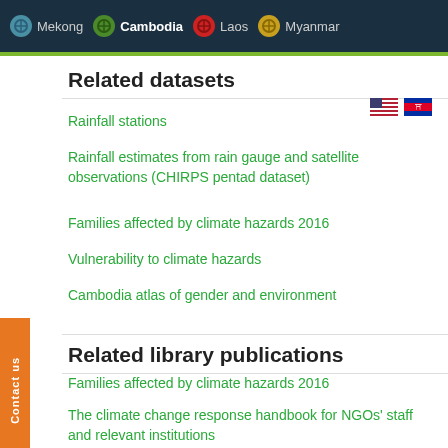Mekong  Cambodia  Laos  Myanmar
Related datasets
Rainfall stations
Rainfall estimates from rain gauge and satellite observations (CHIRPS pentad dataset)
Families affected by climate hazards 2016
Vulnerability to climate hazards
Cambodia atlas of gender and environment
Related library publications
Families affected by climate hazards 2016
The climate change response handbook for NGOs' staff and relevant institutions
Cambodia Climate and Health Country Profile 2015